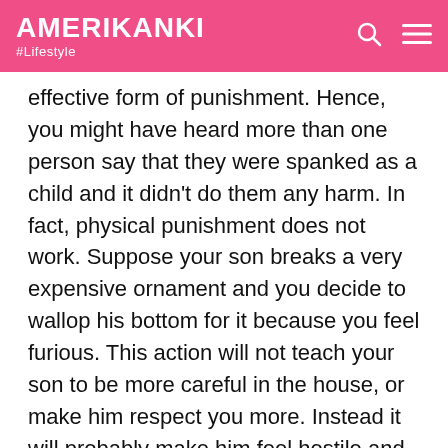AMERIKANKI #Lifestyle
effective form of punishment. Hence, you might have heard more than one person say that they were spanked as a child and it didn't do them any harm. In fact, physical punishment does not work. Suppose your son breaks a very expensive ornament and you decide to wallop his bottom for it because you feel furious. This action will not teach your son to be more careful in the house, or make him respect you more. Instead it will probably make him feel hostile and resentful towards you. Hence, physically punishing your child could damage your relationship with him. Physical punishments also